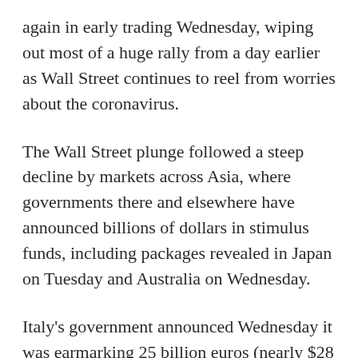again in early trading Wednesday, wiping out most of a huge rally from a day earlier as Wall Street continues to reel from worries about the coronavirus.
The Wall Street plunge followed a steep decline by markets across Asia, where governments there and elsewhere have announced billions of dollars in stimulus funds, including packages revealed in Japan on Tuesday and Australia on Wednesday.
Italy's government announced Wednesday it was earmarking 25 billion euros (nearly $28 billion)